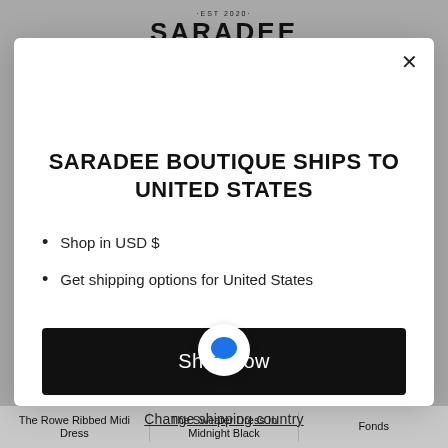·EST 2020· SARADEE
SARADEE BOUTIQUE SHIPS TO UNITED STATES
Shop in USD $
Get shipping options for United States
Shop now
Change shipping country
The Rowe Ribbed Midi Dress
The Sweater Dress In Midnight Black
Fonds